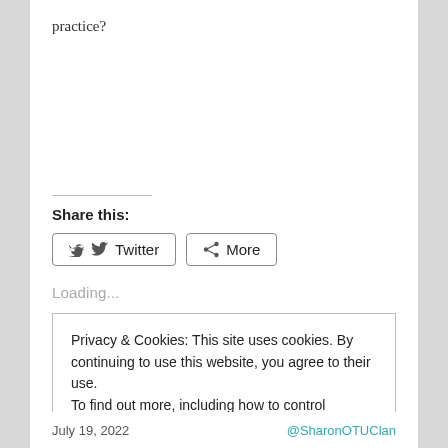practice?
Share this:
Twitter  More
Loading...
Privacy & Cookies: This site uses cookies. By continuing to use this website, you agree to their use.
To find out more, including how to control cookies, see here: Cookie Policy
Close and accept
July 19, 2022   @SharonOTUClan